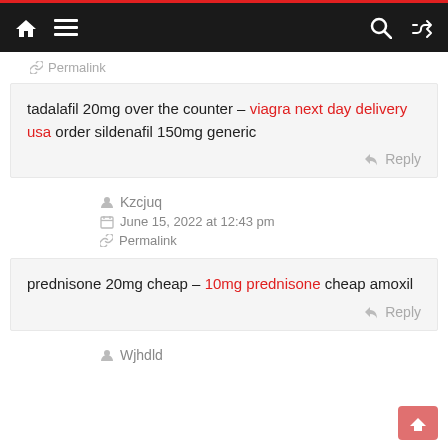Navigation bar with home, menu, search, and shuffle icons
Permalink
tadalafil 20mg over the counter – viagra next day delivery usa order sildenafil 150mg generic
Reply
Kzcjuq
June 15, 2022 at 12:43 pm
Permalink
prednisone 20mg cheap – 10mg prednisone cheap amoxil
Reply
Wjhdld